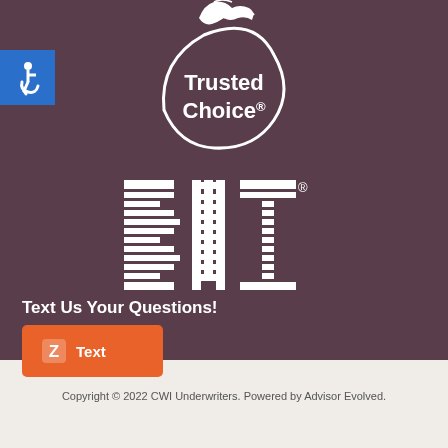[Figure (logo): Trusted Choice logo with eagle/bird graphic and circular swoosh, white on dark mauve background]
[Figure (logo): BNI logo with horizontal line pattern effect through the letters, white on dark mauve background, with registered trademark symbol]
[Figure (logo): Accessibility wheelchair symbol in white on blue square badge]
Text Us Your Questions!
[Figure (infographic): Orange button with Zelle-style Z icon and the word Text]
Copyright © 2022 CWI Underwriters. Powered by Advisor Evolved.